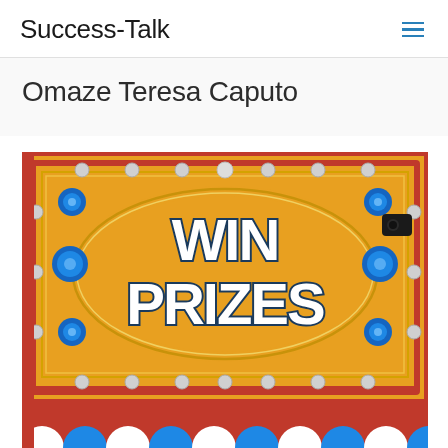Success-Talk
Omaze Teresa Caputo
[Figure (photo): A colorful carnival/fairground sign with red, orange, and gold colors reading 'WIN PRIZES' in large groovy white letters with dark blue outline, decorated with silver metallic bolts around the border, blue circular decorations on corners, and a row of alternating blue and white semi-circles along the bottom.]